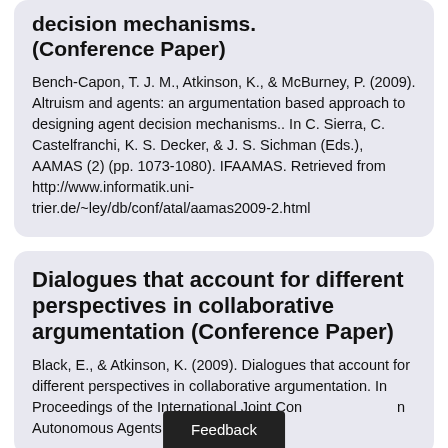decision mechanisms. (Conference Paper)
Bench-Capon, T. J. M., Atkinson, K., & McBurney, P. (2009). Altruism and agents: an argumentation based approach to designing agent decision mechanisms.. In C. Sierra, C. Castelfranchi, K. S. Decker, & J. S. Sichman (Eds.), AAMAS (2) (pp. 1073-1080). IFAAMAS. Retrieved from http://www.informatik.uni-trier.de/~ley/db/conf/atal/aamas2009-2.html
Dialogues that account for different perspectives in collaborative argumentation (Conference Paper)
Black, E., & Atkinson, K. (2009). Dialogues that account for different perspectives in collaborative argumentation. In Proceedings of the International Joint Con n Autonomous Agents and